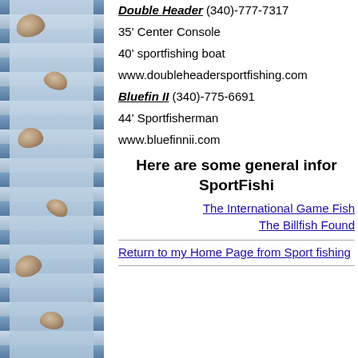[Figure (illustration): Decorative sidebar with blue ocean/water pattern and sea shell illustrations]
Double Header (340)-777-7317
35' Center Console
40' sportfishing boat
www.doubleheadersportfishing.com
Bluefin II (340)-775-6691
44' Sportfisherman
www.bluefinnii.com
Here are some general infor SportFishi
The International Game Fish
The Billfish Found
Return to my Home Page from Sport fishing